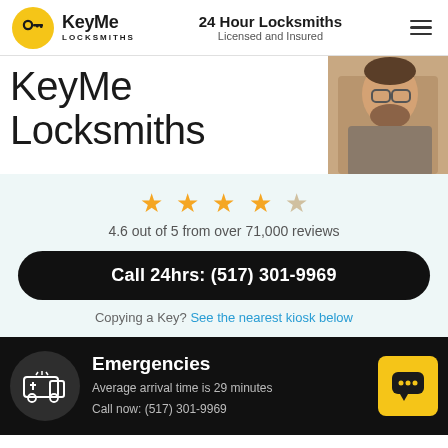KeyMe Locksmiths | 24 Hour Locksmiths Licensed and Insured
KeyMe Locksmiths
[Figure (photo): Photo of a bearded man with glasses working at a desk]
4.6 out of 5 from over 71,000 reviews
Call 24hrs: (517) 301-9969
Copying a Key? See the nearest kiosk below
Emergencies
Average arrival time is 29 minutes
Call now: (517) 301-9969